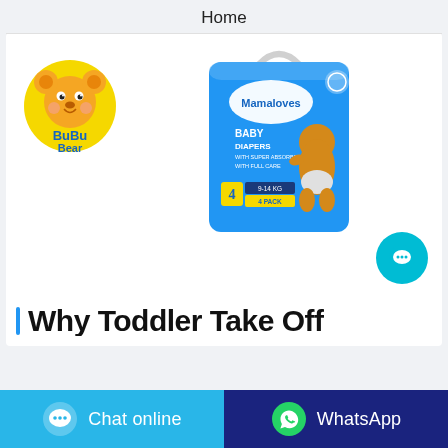Home
[Figure (logo): BuBu Bear brand logo — cartoon bear on yellow circle with 'BuBu Bear' text in blue]
[Figure (photo): Mamaloves Baby Diapers product package — blue bag with handle, showing a baby and size 4 label, 4 pack]
Why Toddler Take Off...
Chat online
WhatsApp